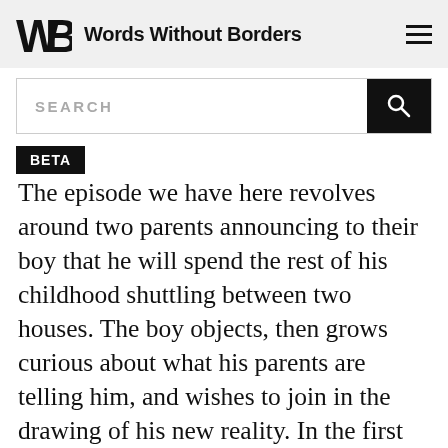Words Without Borders
SEARCH
BETA
The episode we have here revolves around two parents announcing to their boy that he will spend the rest of his childhood shuttling between two houses. The boy objects, then grows curious about what his parents are telling him, and wishes to join in the drawing of his new reality. In the first several panels, the dialogue is heard only between the mother and son, and we pay increasing attention to the father, shadowed in brisk vertical strokes, his back to the frame, a